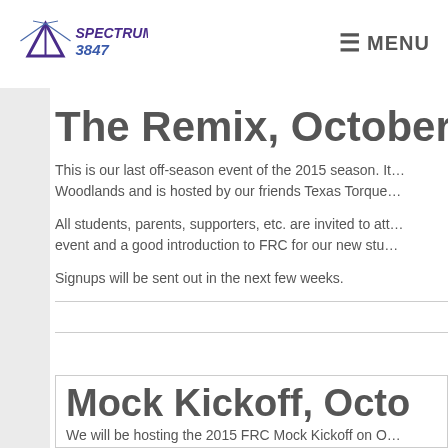[Figure (logo): Spectrum 3847 logo with stylized rocket/triangle graphic in purple and blue]
≡ MENU
The Remix, October
This is our last off-season event of the 2015 season. It is held in The Woodlands and is hosted by our friends Texas Torque.
All students, parents, supporters, etc. are invited to att… event and a good introduction to FRC for our new stu…
Signups will be sent out in the next few weeks.
Mock Kickoff, Octo
We will be hosting the 2015 FRC Mock Kickoff on O…